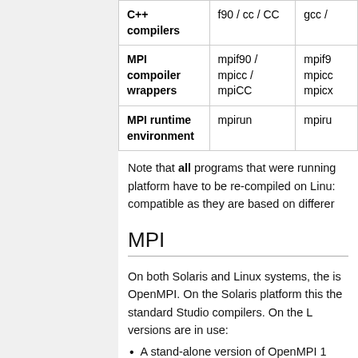|  | Column 1 | Column 2 |
| --- | --- | --- |
| C++ compilers | f90 / cc / CC | gcc / |
| MPI compoiler wrappers | mpif90 / mpicc / mpiCC | mpif9 / mpicc / mpicx |
| MPI runtime environment | mpirun | mpiru |
Note that all programs that were running platform have to be re-compiled on Linu: compatible as they are based on differer
MPI
On both Solaris and Linux systems, the is OpenMPI. On the Solaris platform this the standard Studio compilers. On the L versions are in use:
A stand-alone version of OpenMPI 1 combination with the gcc compiler ar